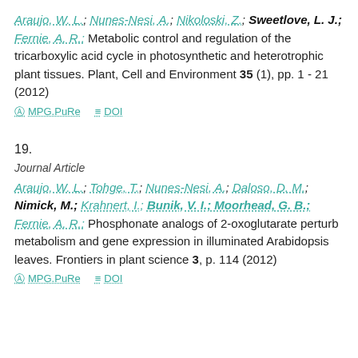Araujo, W. L.; Nunes-Nesi, A.; Nikoloski, Z.; Sweetlove, L. J.; Fernie, A. R.: Metabolic control and regulation of the tricarboxylic acid cycle in photosynthetic and heterotrophic plant tissues. Plant, Cell and Environment 35 (1), pp. 1 - 21 (2012)
MPG.PuRe   DOI
19.
Journal Article
Araujo, W. L.; Tohge, T.; Nunes-Nesi, A.; Daloso, D. M.; Nimick, M.; Krahnert, I.; Bunik, V. I.; Moorhead, G. B.; Fernie, A. R.: Phosphonate analogs of 2-oxoglutarate perturb metabolism and gene expression in illuminated Arabidopsis leaves. Frontiers in plant science 3, p. 114 (2012)
MPG.PuRe   DOI